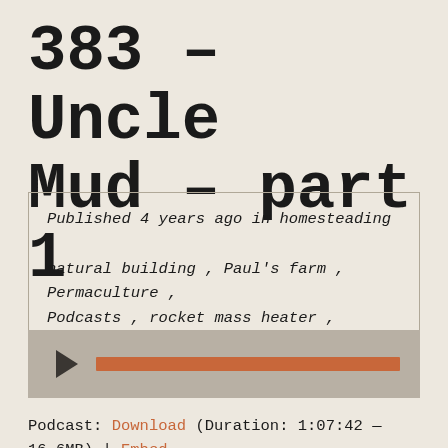383 – Uncle Mud – part 1
Published 4 years ago in homesteading , natural building , Paul's farm , Permaculture , Podcasts , rocket mass heater , Wheaton Labs , wood heat
[Figure (other): Audio player with play button and orange progress bar on grey background]
Podcast: Download (Duration: 1:07:42 — 16.6MB) | Embed